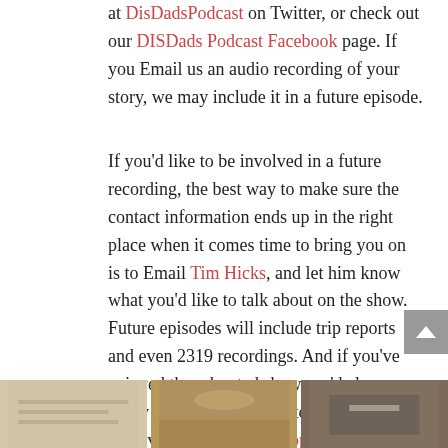at DisDadsPodcast on Twitter, or check out our DISDads Podcast Facebook page. If you Email us an audio recording of your story, we may include it in a future episode.
If you'd like to be involved in a future recording, the best way to make sure the contact information ends up in the right place when it comes time to bring you on is to Email Tim Hicks, and let him know what you'd like to talk about on the show. Future episodes will include trip reports and even 2319 recordings. And if you've enjoyed the rebooted show, we'd also really appreciate it if you took a moment to leave us a review on Apple Podcasts. We rely on listener feedback to fine-tune what we're offering and plan for future shows. Plus, the reviews help new listeners find the show and join in the fun with the community.
[Figure (photo): Three thumbnail images in a strip at the bottom of the page]